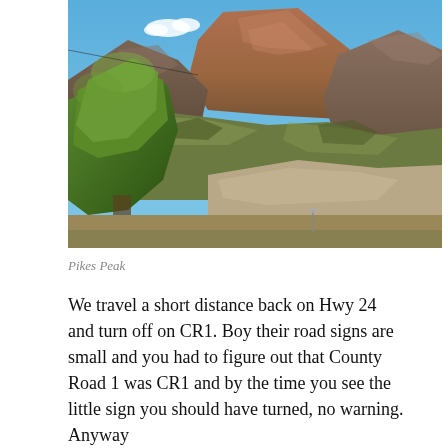[Figure (photo): Photograph of Pikes Peak mountain with a blue sky background, rocky mountain slopes with sparse vegetation, and a large green tree in the foreground left.]
Pikes Peak
We travel a short distance back on Hwy 24 and turn off on CR1. Boy their road signs are small and you had to figure out that County Road 1 was CR1 and by the time you see the little sign you should have turned, no warning. Anyway